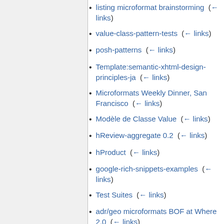listing microformat brainstorming  (← links)
value-class-pattern-tests  (← links)
posh-patterns  (← links)
Template:semantic-xhtml-design-principles-ja  (← links)
Microformats Weekly Dinner, San Francisco  (← links)
Modèle de Classe Value  (← links)
hReview-aggregate 0.2  (← links)
hProduct  (← links)
google-rich-snippets-examples  (← links)
Test Suites  (← links)
adr/geo microformats BOF at Where 2.0  (← links)
Rencontres et Dîners Hebdomadaires  (← links)
Value Class Pattern  (← links)